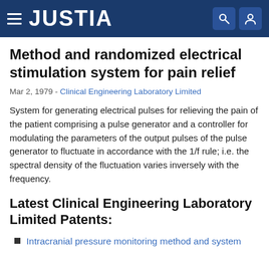JUSTIA
Method and randomized electrical stimulation system for pain relief
Mar 2, 1979 - Clinical Engineering Laboratory Limited
System for generating electrical pulses for relieving the pain of the patient comprising a pulse generator and a controller for modulating the parameters of the output pulses of the pulse generator to fluctuate in accordance with the 1/f rule; i.e. the spectral density of the fluctuation varies inversely with the frequency.
Latest Clinical Engineering Laboratory Limited Patents:
Intracranial pressure monitoring method and system